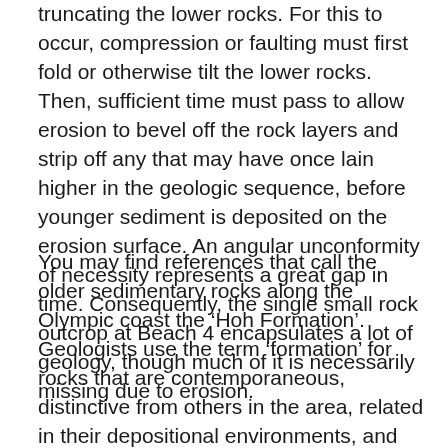truncating the lower rocks. For this to occur, compression or faulting must first fold or otherwise tilt the lower rocks. Then, sufficient time must pass to allow erosion to bevel off the rock layers and strip off any that may have once lain higher in the geologic sequence, before younger sediment is deposited on the erosion surface. An angular unconformity of necessity represents a great gap in time. Consequently, the single small rock outcrop at Beach 4 encapsulates a lot of geology, though much of it is necessarily missing due to erosion.
You may find references that call the older sedimentary rocks along the Olympic coast the ‘Hoh Formation’. Geologists use the term ‘formation’ for rocks that are contemporaneous, distinctive from others in the area, related in their depositional environments, and that are extensive enough to be mapped out on the surface or